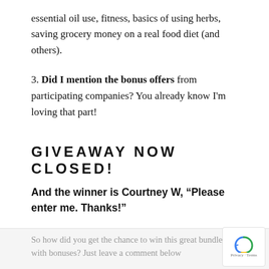essential oil use, fitness, basics of using herbs, saving grocery money on a real food diet (and others).
3. Did I mention the bonus offers from participating companies? You already know I'm loving that part!
GIVEAWAY NOW CLOSED!
And the winner is Courtney W, “Please enter me. Thanks!”
Courtney, I will be sending you an email, so please check for that!
So how did you get the chance to win this great bundle with bonuses? Just leave a comment below